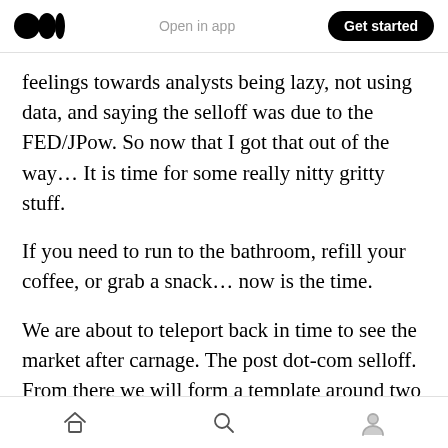Open in app | Get started
feelings towards analysts being lazy, not using data, and saying the selloff was due to the FED/JPow. So now that I got that out of the way… It is time for some really nitty gritty stuff.
If you need to run to the bathroom, refill your coffee, or grab a snack… now is the time.
We are about to teleport back in time to see the market after carnage. The post dot-com selloff. From there we will form a template around two economic indicators as I mentioned earlier: Eurodollars futures contracts and Fed Fund
Home | Search | Profile